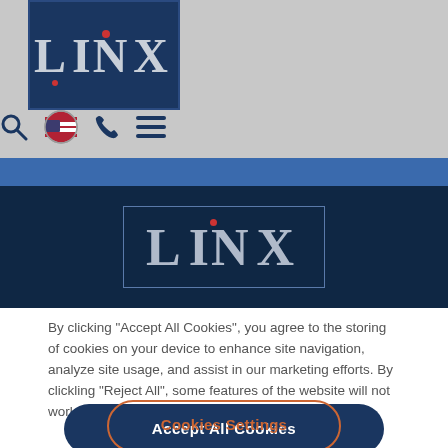[Figure (logo): LINX logo in navy blue box with serif letters and red dot accent, in gray header bar with search, flag, phone, and menu icons]
[Figure (logo): LINX logo centered in dark navy section with border frame and red dot above I]
By clicking "Accept All Cookies", you agree to the storing of cookies on your device to enhance site navigation, analyze site usage, and assist in our marketing efforts. By clickling "Reject All", some features of the website will not work.
Accept All Cookies
Cookies Settings